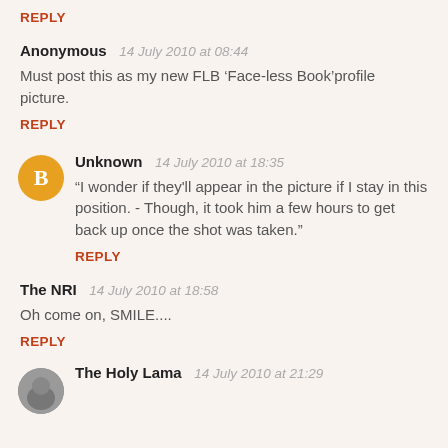REPLY
Anonymous  14 July 2010 at 08:44
Must post this as my new FLB ‘Face-less Book’profile picture.
REPLY
Unknown  14 July 2010 at 18:35
"I wonder if they'll appear in the picture if I stay in this position. - Though, it took him a few hours to get back up once the shot was taken."
REPLY
The NRI  14 July 2010 at 18:58
Oh come on, SMILE....
REPLY
The Holy Lama  14 July 2010 at 21:29